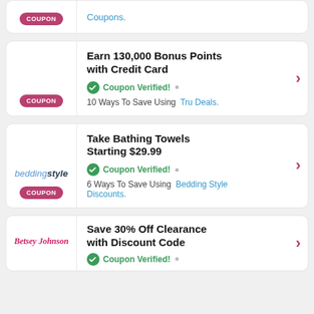[Figure (other): Partial coupon card at top showing COUPON badge on left and 'Coupons.' link text on right]
Earn 130,000 Bonus Points with Credit Card – Coupon Verified! 10 Ways To Save Using Tru Deals.
Take Bathing Towels Starting $29.99 – Coupon Verified! 6 Ways To Save Using Bedding Style Discounts.
Save 30% Off Clearance with Discount Code – Coupon Verified!